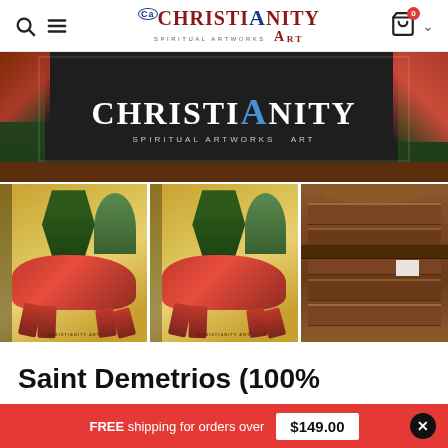Christianity Art - Spiritual Artworks
[Figure (photo): Large product image showing Christianity Art logo on dark background with partial icon painting visible]
[Figure (photo): Thumbnail 1 (selected, red border): Saint Demetrios icon painting on horseback, gold background]
[Figure (photo): Thumbnail 2: Saint Demetrios icon painting on horseback, similar view]
[Figure (photo): Thumbnail 3: Back of wooden panel of icon]
Saint Demetrios (100%
FREE shipping for orders over $149.00